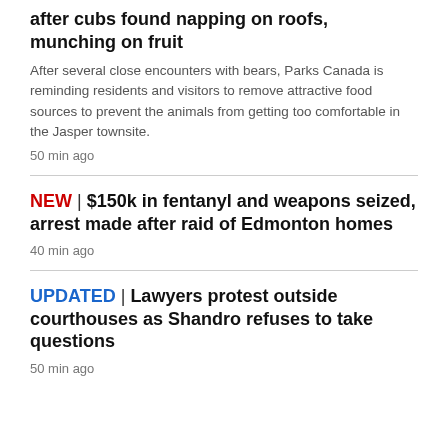after cubs found napping on roofs, munching on fruit
After several close encounters with bears, Parks Canada is reminding residents and visitors to remove attractive food sources to prevent the animals from getting too comfortable in the Jasper townsite.
50 min ago
NEW | $150k in fentanyl and weapons seized, arrest made after raid of Edmonton homes
40 min ago
UPDATED | Lawyers protest outside courthouses as Shandro refuses to take questions
50 min ago